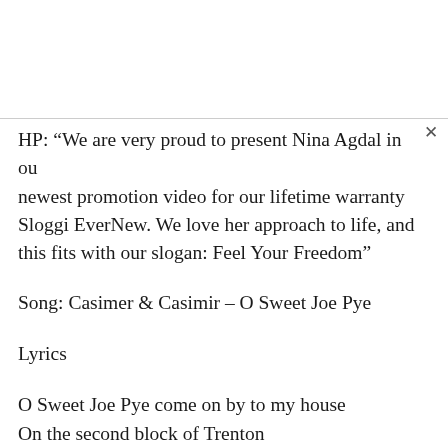HP: “We are very proud to present Nina Agdal in our newest promotion video for our lifetime warranty Sloggi EverNew. We love her approach to life, and this fits with our slogan: Feel Your Freedom”
Song: Casimer & Casimir – O Sweet Joe Pye
Lyrics
O Sweet Joe Pye come on by to my house
On the second block of Trenton
It’s the white one with the side-steps